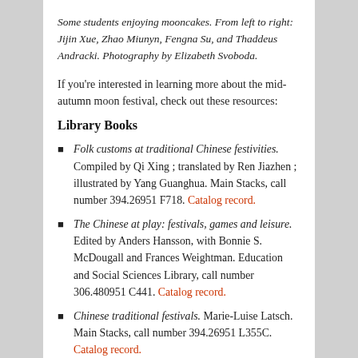Some students enjoying mooncakes. From left to right: Jijin Xue, Zhao Miunyn, Fengna Su, and Thaddeus Andracki. Photography by Elizabeth Svoboda.
If you're interested in learning more about the mid-autumn moon festival, check out these resources:
Library Books
Folk customs at traditional Chinese festivities. Compiled by Qi Xing ; translated by Ren Jiazhen ; illustrated by Yang Guanghua. Main Stacks, call number 394.26951 F718. Catalog record.
The Chinese at play: festivals, games and leisure. Edited by Anders Hansson, with Bonnie S. McDougall and Frances Weightman. Education and Social Sciences Library, call number 306.480951 C441. Catalog record.
Chinese traditional festivals. Marie-Luise Latsch. Main Stacks, call number 394.26951 L355C. Catalog record.